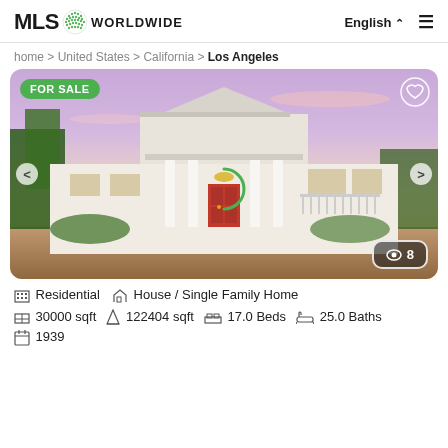[Figure (logo): MLS Worldwide logo with globe icon]
English ∨  ≡
home > United States > California > Los Angeles
[Figure (photo): Large white colonial-style mansion with red front door, columns, triangular pediment, at dusk with purple/pink sky. FOR SALE badge top left. Heart icon top right. Navigation arrows. View count badge showing 8.]
Residential   House / Single Family Home
30000 sqft   122404 sqft   17.0 Beds   25.0 Baths
1939